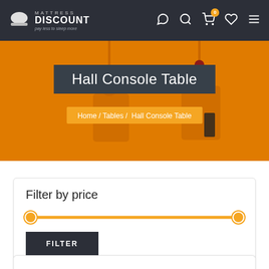Mattress Discount — pay less to sleep more
[Figure (screenshot): Hero banner with orange background showing hanging chairs/furniture, with overlaid dark box containing 'Hall Console Table' heading and breadcrumb navigation bar]
Hall Console Table
Home / Tables / Hall Console Table
Filter by price
FILTER
Price: $60 — $530